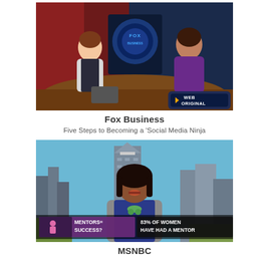[Figure (photo): Fox Business TV segment screenshot showing two women at a news desk. Fox Business logo visible in background. 'WEB ORIGINAL' banner in lower right corner.]
Fox Business
Five Steps to Becoming a 'Social Media Ninja
[Figure (photo): MSNBC TV segment screenshot showing a woman standing outdoors with a city skyline behind her. Lower-third graphic reads 'MENTORS= SUCCESS?' on the left and '83% OF WOMEN HAVE HAD A MENTOR' on the right.]
MSNBC